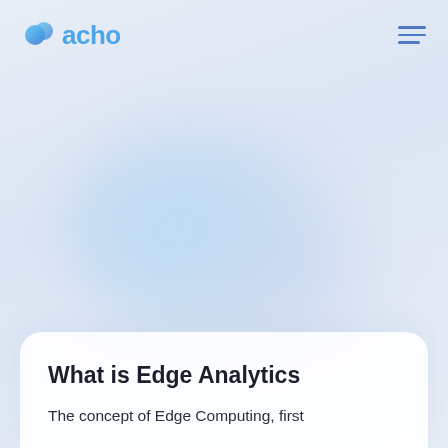[Figure (logo): Acho logo — two overlapping blue circles forming a figure-eight, followed by the word 'acho' in blue text]
[Figure (illustration): Abstract light blue radial glow/blob gradient in the center of the page on a light blue-grey background, serving as a decorative hero illustration]
What is Edge Analytics
The concept of Edge Computing, first